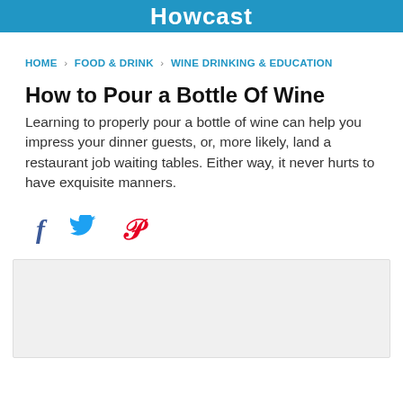Howcast
HOME › FOOD & DRINK › WINE DRINKING & EDUCATION
How to Pour a Bottle Of Wine
Learning to properly pour a bottle of wine can help you impress your dinner guests, or, more likely, land a restaurant job waiting tables. Either way, it never hurts to have exquisite manners.
[Figure (other): Social sharing icons: Facebook (f), Twitter (bird), Pinterest (P)]
[Figure (other): Image placeholder area, light gray background]